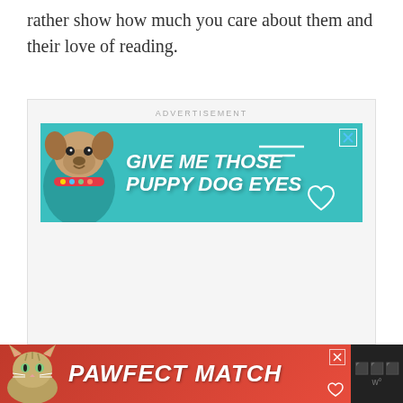rather show how much you care about them and their love of reading.
[Figure (infographic): Advertisement box with label 'ADVERTISEMENT' at top. Contains a teal banner ad showing a pug dog with text 'GIVE ME THOSE PUPPY DOG EYES' with decorative lines and a heart outline. Has a close (X) button in top-right corner.]
[Figure (infographic): Bottom banner advertisement on dark/black background showing a cat image on left and text 'PAWFECT MATCH' in bold italic white letters on orange/red background. Has a close (X) button and a 'w°' wordmark on the right.]